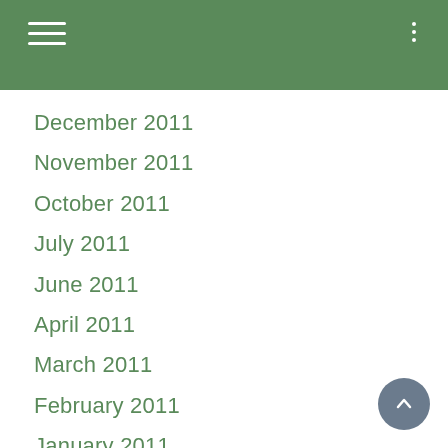December 2011
November 2011
October 2011
July 2011
June 2011
April 2011
March 2011
February 2011
January 2011
November 2010